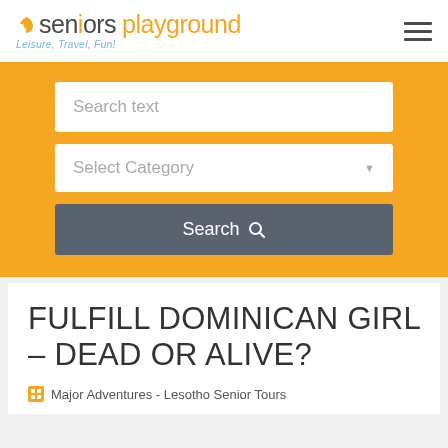seniors playground — Leisure, Travel, Fun!
[Figure (screenshot): Website search interface with orange background, search text input, select category dropdown, and search button]
FULFILL DOMINICAN GIRL – DEAD OR ALIVE?
Major Adventures - Lesotho Senior Tours